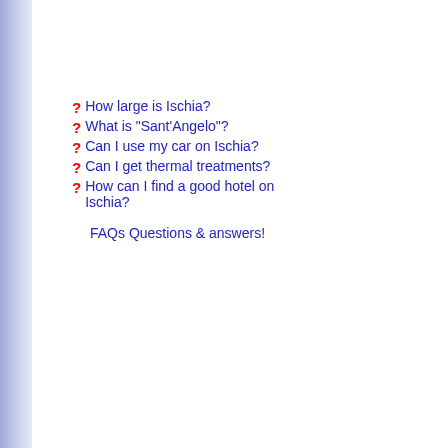? How large is Ischia?
? What is "Sant'Angelo"?
? Can I use my car on Ischia?
? Can I get thermal treatments?
? How can I find a good hotel on Ischia?
FAQs Questions & answers!
Couldn't load plugin.